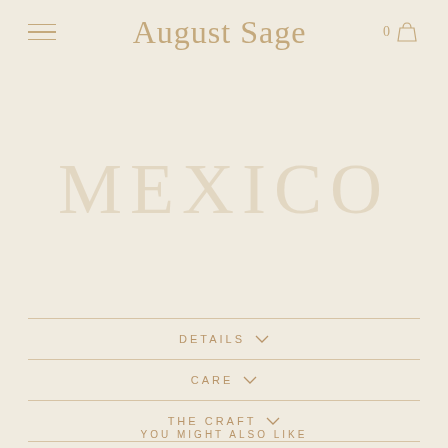August Sage
MEXICO
DETAILS
CARE
THE CRAFT
YOU MIGHT ALSO LIKE